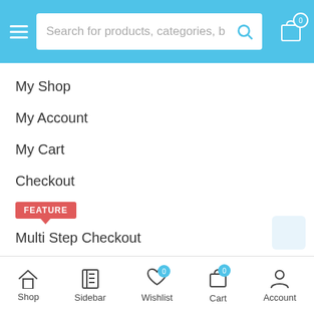[Figure (screenshot): Mobile app navigation header with hamburger menu, search bar, and cart icon on blue background]
My Shop
My Account
My Cart
Checkout
Multi Step Checkout
Tracking Order
My Wishlist
[Figure (screenshot): Bottom navigation bar with Shop, Sidebar, Wishlist (badge 0), Cart (badge 0), Account icons]